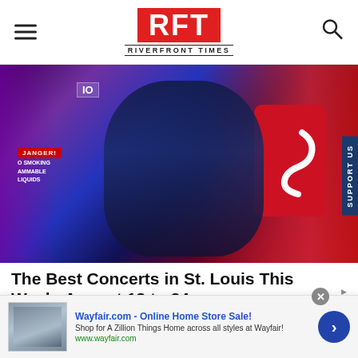RFT RIVERFRONT TIMES
[Figure (photo): A man wearing sunglasses and a dark polo shirt with a medallion necklace, holding a yellow bottle to his mouth near a red sports car with its door open showing an S logo. A DANGER NO SMOKING FLAMMABLE LIQUIDS sign is visible on the left. Purple and blue lighting. SUPPORT US tab on the right side.]
The Best Concerts in St. Louis This Week: August 18 to 24
[Figure (screenshot): Advertisement banner: Wayfair.com - Online Home Store Sale! Shop for A Zillion Things Home across all styles at Wayfair! www.wayfair.com. With a thumbnail of home furniture and a blue arrow button. Close (X) button and ad label in top right.]